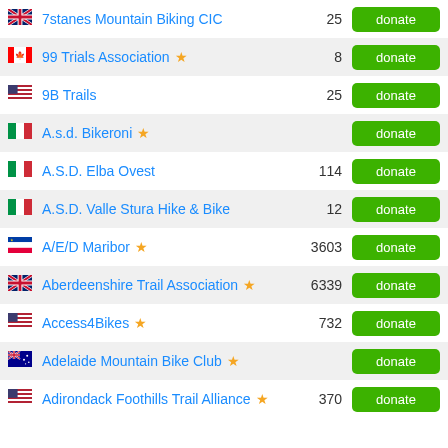7stanes Mountain Biking CIC | 25 | donate
99 Trials Association ★ | 8 | donate
9B Trails | 25 | donate
A.s.d. Bikeroni ★ | donate
A.S.D. Elba Ovest | 114 | donate
A.S.D. Valle Stura Hike & Bike | 12 | donate
A/E/D Maribor ★ | 3603 | donate
Aberdeenshire Trail Association ★ | 6339 | donate
Access4Bikes ★ | 732 | donate
Adelaide Mountain Bike Club ★ | donate
Adirondack Foothills Trail Alliance ★ | 370 | donate